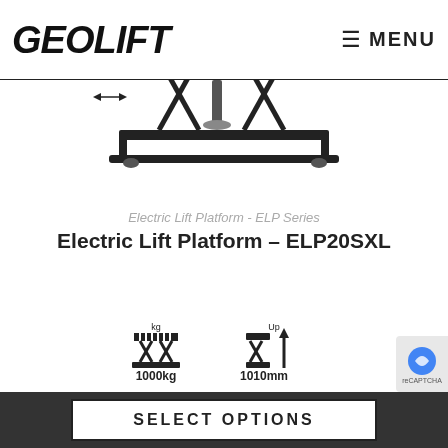[Figure (logo): GEOLIFT logo in bold italic black text]
[Figure (photo): Electric scissor lift platform with orange top surface, black scissor mechanism and base frame, with dimension indicators showing 1000kg capacity and 1000mm dimensions at top]
Electric Lift Platform - ELP Series
Electric Lift Platform – ELP20SXL
[Figure (infographic): Specification icons: load capacity icon showing 1000kg, and lift height icon showing Up 1010mm]
SELECT OPTIONS